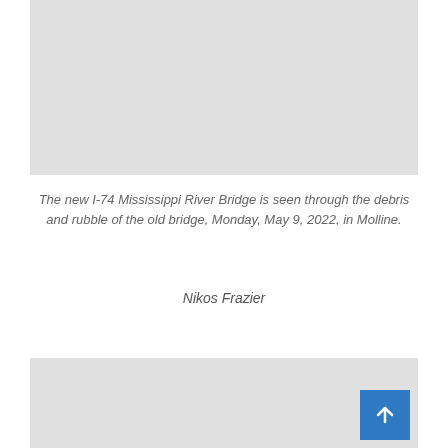[Figure (photo): Gray placeholder rectangle representing a photograph of the I-74 Mississippi River Bridge seen through debris and rubble of the old bridge]
The new I-74 Mississippi River Bridge is seen through the debris and rubble of the old bridge, Monday, May 9, 2022, in Molline.
Nikos Frazier
[Figure (photo): Gray placeholder rectangle representing a second photograph]